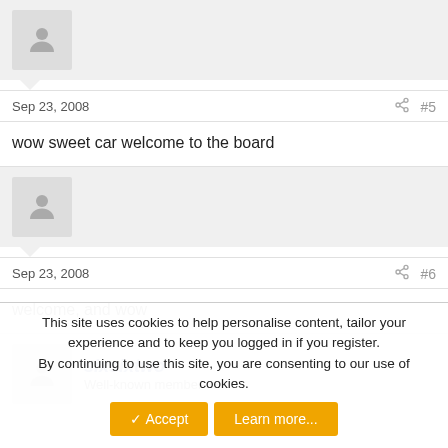[Figure (illustration): Anonymous user avatar placeholder (gray silhouette on light gray background)]
Sep 23, 2008   #5
wow sweet car welcome to the board
[Figure (illustration): Anonymous user avatar placeholder (gray silhouette on light gray background)]
Sep 23, 2008   #6
welcome, and wow
[Figure (illustration): Anonymous user avatar placeholder (gray silhouette on light gray background)]
sixsixtwo
Well-known member
This site uses cookies to help personalise content, tailor your experience and to keep you logged in if you register.
By continuing to use this site, you are consenting to our use of cookies.